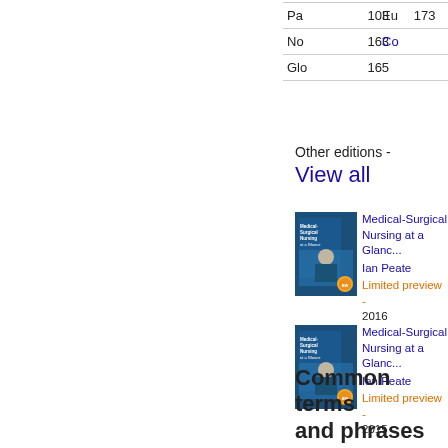| Pa | 103 | Eu | 173 |
| No | 163 | Co |  |
| Glo | 165 |  |  |
Other editions - View all
[Figure (photo): Book cover of Medical-Surgical Nursing at a Glance by Ian Peate, dark blue cover with medical imagery]
Medical-Surgical Nursing at a Glance Ian Peate Limited preview - 2016
[Figure (photo): Book cover of Medical-Surgical Nursing at a Glance by Ian Peate, dark blue cover with medical imagery]
Medical-Surgical Nursing at a Glance Ian Peate Limited preview - 2015
Common terms and phrases